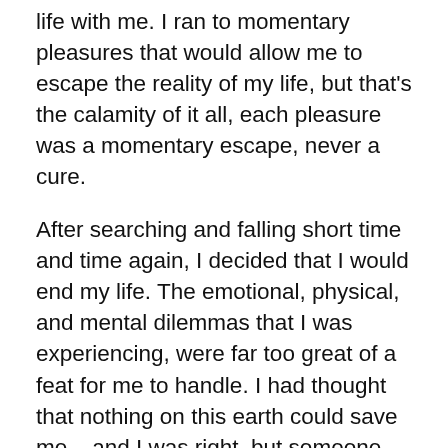life with me. I ran to momentary pleasures that would allow me to escape the reality of my life, but that's the calamity of it all, each pleasure was a momentary escape, never a cure.
After searching and falling short time and time again, I decided that I would end my life. The emotional, physical, and mental dilemmas that I was experiencing, were far too great of a feat for me to handle. I had thought that nothing on this earth could save me... and I was right, but someone who overcame the world could. As I was on my deathbed, contemplating the how of my life, with tears running down my face; God spoke to me. I knew it was He because of the simple, compassionate, and still small voice that spoke to me. He told me that my life could positively impact somebody one day, but out of my own freewill, I would have to make a choice on